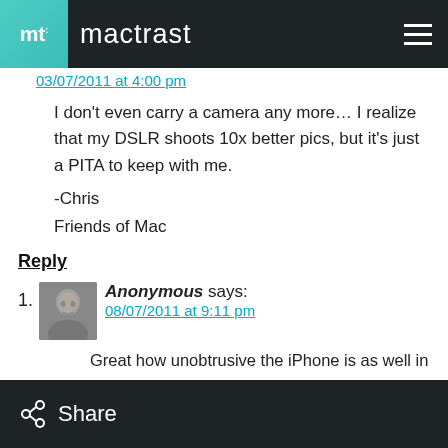mt: mactrast
03/07/2011 at 4:00 pm
I don't even carry a camera any more… I realize that my DSLR shoots 10x better pics, but it's just a PITA to keep with me.
-Chris
Friends of Mac
Reply
[Figure (photo): Avatar photo of Anonymous commenter, grayscale portrait]
Anonymous says:
08/07/2011 at 9:11 pm
Great how unobtrusive the iPhone is as well in terms of getting certain shots… for street photography or social occasions you can get shots that a DSLR would ruin.
Share